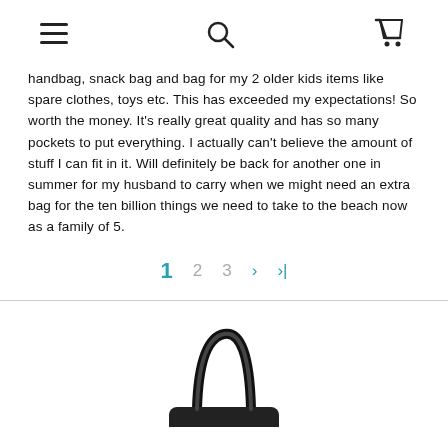navigation header with hamburger menu, search icon, and cart icon
handbag, snack bag and bag for my 2 older kids items like spare clothes, toys etc. This has exceeded my expectations! So worth the money. It's really great quality and has so many pockets to put everything. I actually can't believe the amount of stuff I can fit in it. Will definitely be back for another one in summer for my husband to carry when we might need an extra bag for the ten billion things we need to take to the beach now as a family of 5.
1 2 3 > >>|
[Figure (photo): Partial view of a black handbag handle and top portion against white background]